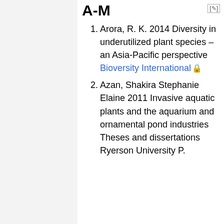A-M
Arora, R. K. 2014 Diversity in underutilized plant species – an Asia-Pacific perspective Bioversity International [locked]
Azan, Shakira Stephanie Elaine 2011 Invasive aquatic plants and the aquarium and ornamental pond industries Theses and dissertations Ryerson University P.